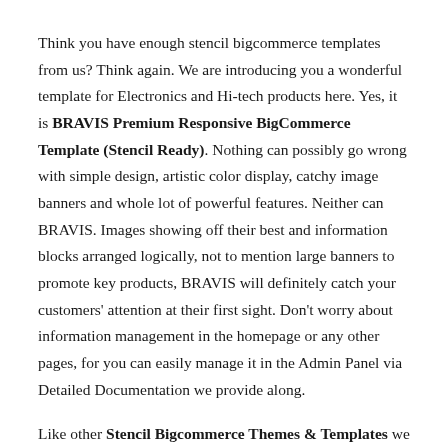Think you have enough stencil bigcommerce templates from us? Think again. We are introducing you a wonderful template for Electronics and Hi-tech products here. Yes, it is BRAVIS Premium Responsive BigCommerce Template (Stencil Ready). Nothing can possibly go wrong with simple design, artistic color display, catchy image banners and whole lot of powerful features. Neither can BRAVIS. Images showing off their best and information blocks arranged logically, not to mention large banners to promote key products, BRAVIS will definitely catch your customers' attention at their first sight. Don't worry about information management in the homepage or any other pages, for you can easily manage it in the Admin Panel via Detailed Documentation we provide along.
Like other Stencil Bigcommerce Themes & Templates we have brought to you, big Responsive Web Design (RWD) can make BRAVIS well compatible with most devices such as Desktop, iPhone, iPad, Smartphone Android, Tablet Android...